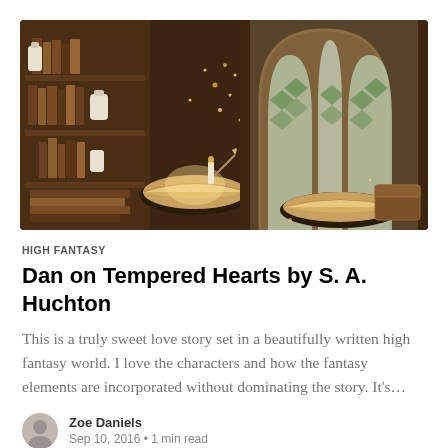[Figure (photo): Fantasy library scene with an ornate arched stained-glass window, bookshelves, open glowing books, candles, and magical sparkling lights in warm brown tones.]
HIGH FANTASY
Dan on Tempered Hearts by S. A. Huchton
This is a truly sweet love story set in a beautifully written high fantasy world. I love the characters and how the fantasy elements are incorporated without dominating the story. It's…
Zoe Daniels
Sep 10, 2016 • 1 min read